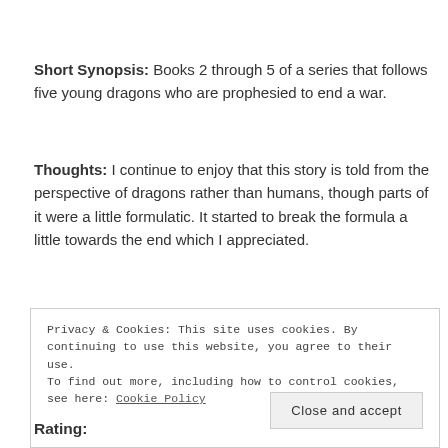Short Synopsis: Books 2 through 5 of a series that follows five young dragons who are prophesied to end a war.
Thoughts: I continue to enjoy that this story is told from the perspective of dragons rather than humans, though parts of it were a little formulatic. It started to break the formula a little towards the end which I appreciated.
Privacy & Cookies: This site uses cookies. By continuing to use this website, you agree to their use.
To find out more, including how to control cookies, see here: Cookie Policy
Close and accept
Rating: